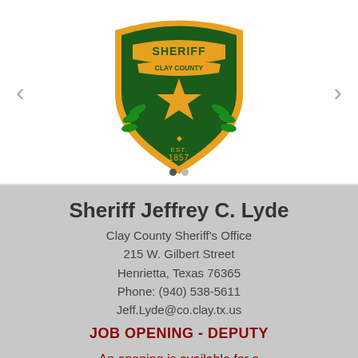[Figure (logo): Clay County Sheriff badge - green shield shape with gold border, gold star in center, 'SHERIFF' text at top, 'CLAY COUNTY' on banner, Texas state outline, 'EST. 1857' at bottom, laurel branches on sides]
Sheriff Jeffrey C. Lyde
Clay County Sheriff's Office
215 W. Gilbert Street
Henrietta, Texas 76365
Phone: (940) 538-5611
Jeff.Lyde@co.clay.tx.us
JOB OPENING - DEPUTY
An opening is available for a Deputy position. Click on this link